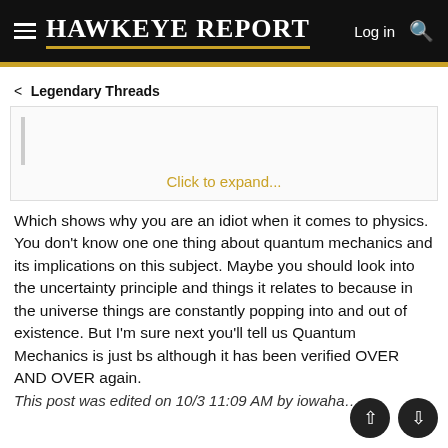HAWKEYE REPORT — Log in [search icon]
< Legendary Threads
Click to expand...
Which shows why you are an idiot when it comes to physics. You don't know one one thing about quantum mechanics and its implications on this subject. Maybe you should look into the uncertainty principle and things it relates to because in the universe things are constantly popping into and out of existence. But I'm sure next you'll tell us Quantum Mechanics is just bs although it has been verified OVER AND OVER again.
This post was edited on 10/3 11:09 AM by iowahai...